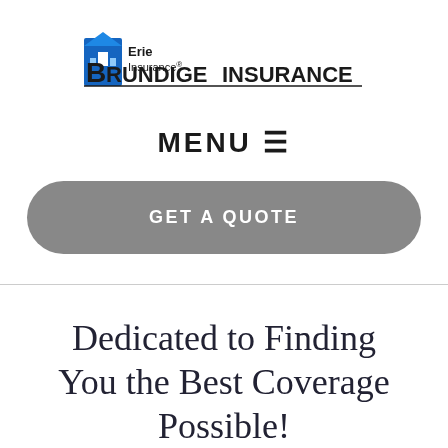[Figure (logo): Erie Insurance and Brundige Insurance combined logo. Erie Insurance logo on top left with blue building icon and text, Brundige Insurance in large bold text below with a horizontal line.]
MENU ≡
GET A QUOTE
Dedicated to Finding You the Best Coverage Possible!